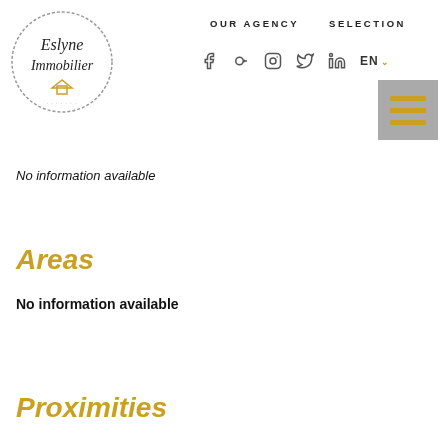OUR AGENCY   SELECTION
[Figure (logo): Eslyne Immobilier circular logo with cursive text and house icon]
No information available
Areas
No information available
Proximities